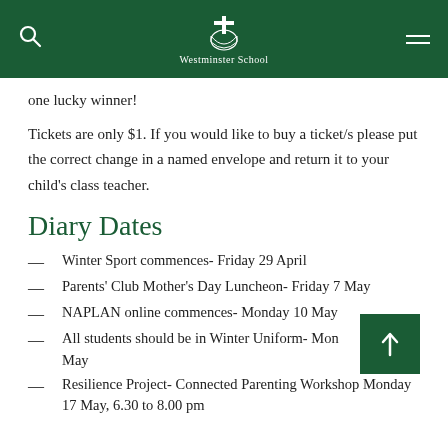Westminster School
one lucky winner!
Tickets are only $1. If you would like to buy a ticket/s please put the correct change in a named envelope and return it to your child's class teacher.
Diary Dates
Winter Sport commences- Friday 29 April
Parents' Club Mother's Day Luncheon- Friday 7 May
NAPLAN online commences- Monday 10 May
All students should be in Winter Uniform- Mon May
Resilience Project- Connected Parenting Workshop Monday 17 May, 6.30 to 8.00 pm